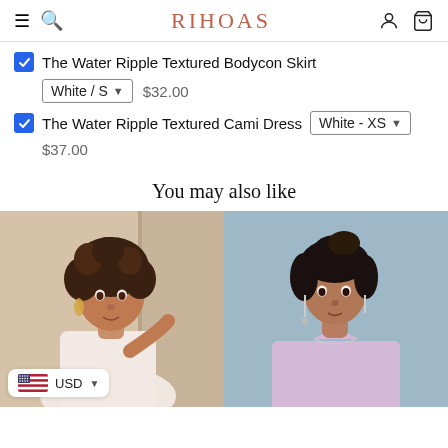RIHOAS
The Water Ripple Textured Bodycon Skirt — White/S — $32.00
The Water Ripple Textured Cami Dress — White - XS — $37.00
You may also like
[Figure (photo): Woman with curly hair wearing a light pink tank top, USD currency selector badge in bottom left]
[Figure (photo): Woman with dark hair wearing a light lavender halter top against a blue-grey background]